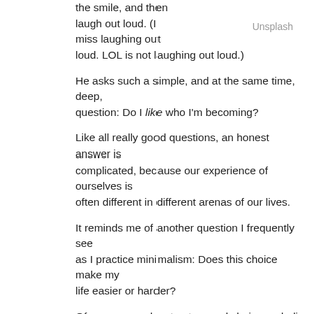the smile, and then laugh out loud. (I miss laughing out loud. LOL is not laughing out loud.)
Unsplash
He asks such a simple, and at the same time, deep, question: Do I like who I'm becoming?
Like all really good questions, an honest answer is complicated, because our experience of ourselves is often different in different arenas of our lives.
It reminds me of another question I frequently see as I practice minimalism: Does this choice make my life easier or harder?
Of course, needs, structure and choice underlie both questions, but I like the way they leave the mechanics aside and focus on feelings.
Do I like me? Are my choices making my life easier or harder?